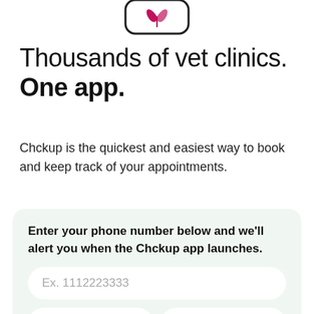[Figure (illustration): Partial view of a smartphone mockup showing a pink/magenta leaf or teardrop logo at the top of the screen, cropped at the top of the page.]
Thousands of vet clinics. One app.
Chckup is the quickest and easiest way to book and keep track of your appointments.
Enter your phone number below and we'll alert you when the Chckup app launches.
Ex. 1112223333
iPhone
Android